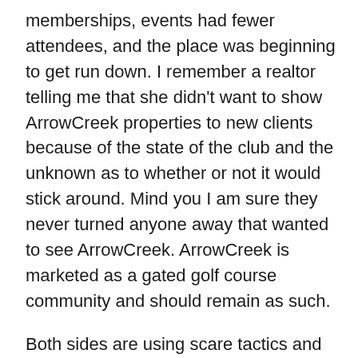memberships, events had fewer attendees, and the place was beginning to get run down. I remember a realtor telling me that she didn't want to show ArrowCreek properties to new clients because of the state of the club and the unknown as to whether or not it would stick around. Mind you I am sure they never turned anyone away that wanted to see ArrowCreek. ArrowCreek is marketed as a gated golf course community and should remain as such.
Both sides are using scare tactics and getting way too emotional. I understand being passionate about a subject but can't we all be adults and respect each other's opinions? Opinions are meant to be shared but not necessarily accepted. You will never get all the people on one side, it just isn't possible. But what is really right for